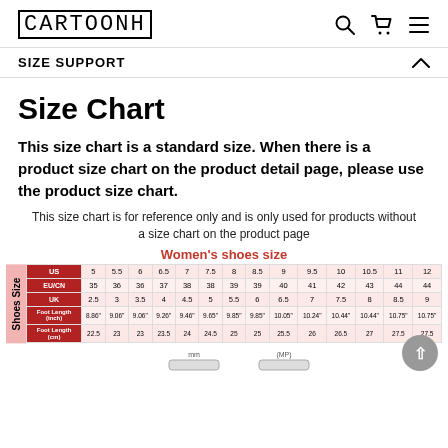CARTOONH
SIZE SUPPORT
Size Chart
This size chart is a standard size. When there is a product size chart on the product detail page, please use the product size chart.
This size chart is for reference only and is only used for products without a size chart on the product page
|  | US | 5 | 5.5 | 6 | 6.5 | 7 | 7.5 | 8 | 8.5 | 9 | 9.5 | 10 | 10.5 | 11 | 12 |
| --- | --- | --- | --- | --- | --- | --- | --- | --- | --- | --- | --- | --- | --- | --- | --- |
|  | EU/CN | 35 | 36 | 36 | 37 | 38 | 38 | 39 | 39 | 40 | 41 | 42 | 43 | 44 | 44 |
|  | UK | 2.5 | 3 | 3.5 | 4 | 4.5 | 5 | 5.5 | 6 | 6.5 | 7 | 7.5 | 8 | 8.5 | 9 |
|  | Foot Length (inch) | 8.86" | 9.06" | 9.06" | 9.26" | 9.46" | 9.65" | 9.85" | 9.85" | 10.05" | 10.24" | 10.44" | 10.44" | 10.75" | 10.75" |
|  | Foot Length (cm) | 22.5 | 23 | 23 | 23.5 | 24 | 24.5 | 25 | 25 | 25.5 | 26 | 26.5 | 27 | 27.5 | 27.5 |